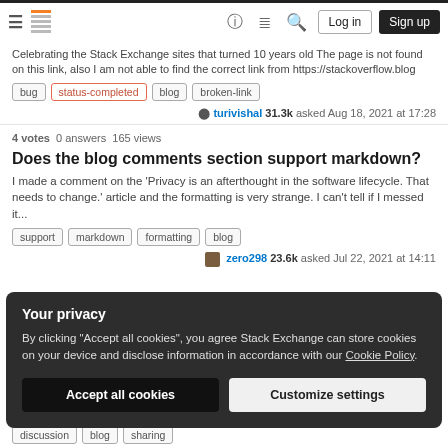Stack Exchange navigation header with hamburger menu, logo, help, chat, search, Log in, Sign up buttons
Celebrating the Stack Exchange sites that turned 10 years old The page is not found on this link, also I am not able to find the correct link from https://stackoverflow.blog
bug | status-completed | blog | broken-link
turivishal 31.3k asked Aug 18, 2021 at 17:28
4 votes  0 answers  165 views
Does the blog comments section support markdown?
I made a comment on the 'Privacy is an afterthought in the software lifecycle. That needs to change.' article and the formatting is very strange. I can't tell if I messed it...
support | markdown | formatting | blog
zero298 23.6k asked Jul 22, 2021 at 14:11
Your privacy

By clicking "Accept all cookies", you agree Stack Exchange can store cookies on your device and disclose information in accordance with our Cookie Policy.

Accept all cookies    Customize settings
discussion | blog | sharing